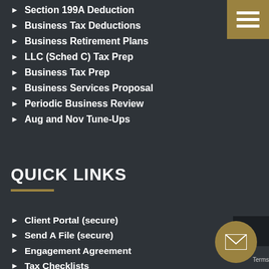Section 199A Deduction
Business Tax Deductions
Business Retirement Plans
LLC (Sched C) Tax Prep
Business Tax Prep
Business Services Proposal
Periodic Business Review
Aug and Nov Tune-Ups
QUICK LINKS
Client Portal (secure)
Send A File (secure)
Engagement Agreement
Tax Checklists